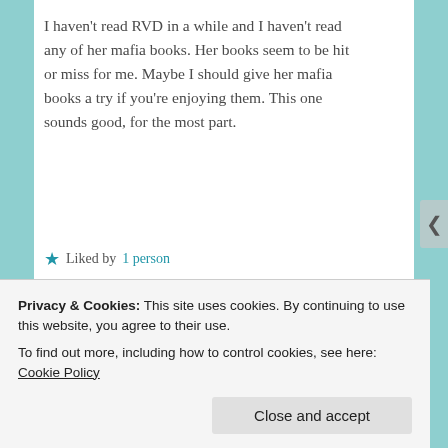I haven't read RVD in a while and I haven't read any of her mafia books. Her books seem to be hit or miss for me. Maybe I should give her mafia books a try if you're enjoying them. This one sounds good, for the most part.
★ Liked by 1 person
Reply
Privacy & Cookies: This site uses cookies. By continuing to use this website, you agree to their use.
To find out more, including how to control cookies, see here: Cookie Policy
Close and accept